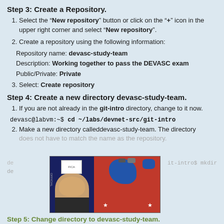Step 3: Create a Repository.
Select the “New repository” button or click on the “+” icon in the upper right corner and select “New repository”.
Create a repository using the following information:
Repository name: devasc-study-team
Description: Working together to pass the DEVASC exam
Public/Private: Private
Select: Create repository
Step 4: Create a new directory devasc-study-team.
If you are not already in the git-intro directory, change to it now.
devasc@labvm:~$ cd ~/labs/devnet-src/git-intro
Make a new directory calleddevasc-study-team. The directory does not have to match the name as the repository.
[Figure (photo): Overlaid photo showing a person against a US election map background with red and blue states]
Step 5: Change directory to devasc-study-team.